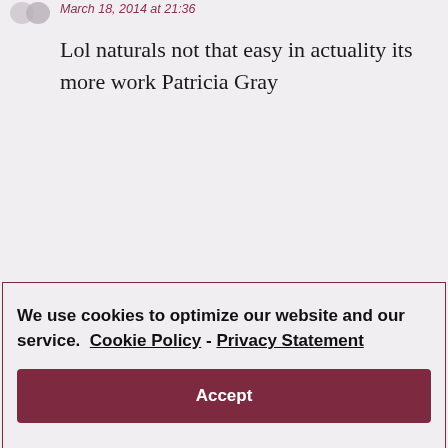March 18, 2014 at 21:36
Lol naturals not that easy in actuality its more work Patricia Gray
We use cookies to optimize our website and our service.  Cookie Policy - Privacy Statement
Accept
I was gonna say the same thing. Natural hair seems to be more work to me.
Reply